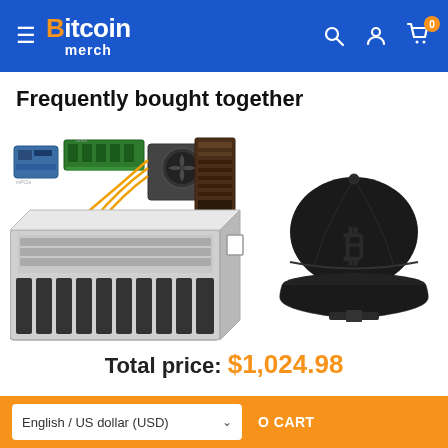Bitcoin merch — navigation header with hamburger menu, search, account, and cart icons (0 items)
Frequently bought together
[Figure (photo): Product bundle image: mining rig open-frame chassis with GPU mining components including RAM, riser cards, power supply unit, and a black Bitcoin-logo snapback cap]
Total price: $1,024.98
English / US dollar (USD)
ADD TO CART